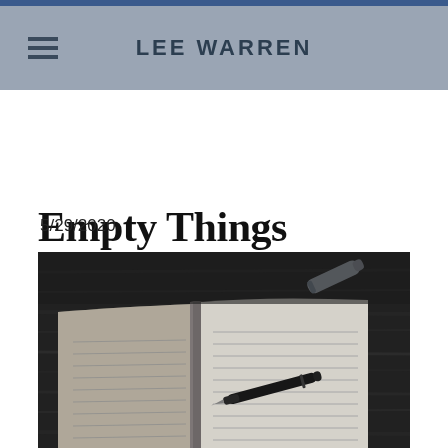LEE WARREN
Empty Things
5/29/2020
[Figure (photo): Black and white photo of an open blank notebook with a fountain pen resting on its pages, and a pen cap lying on a dark wooden surface in the background.]